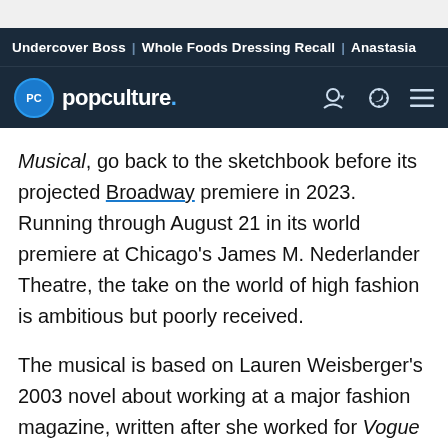Undercover Boss | Whole Foods Dressing Recall | Anastasia
popculture.
Musical, go back to the sketchbook before its projected Broadway premiere in 2023. Running through August 21 in its world premiere at Chicago's James M. Nederlander Theatre, the take on the world of high fashion is ambitious but poorly received.
The musical is based on Lauren Weisberger's 2003 novel about working at a major fashion magazine, written after she worked for Vogue magazine's infamously demanding chief editor Anna Wintour. Additionally, the production draws inspiration from the 2006 movie adaptation, which